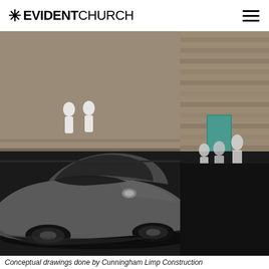* EVIDENT CHURCH
[Figure (illustration): Conceptual architectural rendering of a church building and parking lot. A silver/dark sedan car is prominently in the foreground on a dark asphalt parking lot with yellow striping lines. Silhouette figures of people are visible near the building. The building features a stone/brick facade on the right side with a teal door. The left section shows a brown/tan stucco wall with two white human silhouettes. The scene is a 3D rendered conceptual drawing.]
Conceptual drawings done by Cunningham Limp Construction